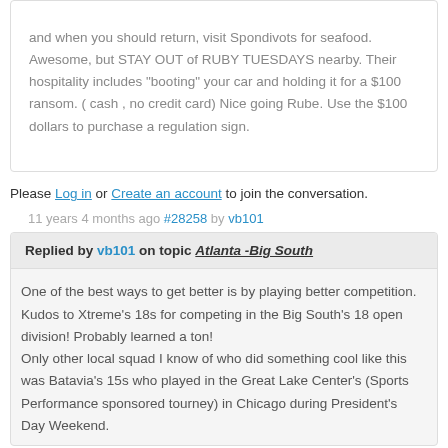and when you should return, visit Spondivots for seafood. Awesome, but STAY OUT of RUBY TUESDAYS nearby. Their hospitality includes "booting" your car and holding it for a $100 ransom. ( cash , no credit card) Nice going Rube. Use the $100 dollars to purchase a regulation sign.
Please Log in or Create an account to join the conversation.
11 years 4 months ago #28258 by vb101
Replied by vb101 on topic Atlanta -Big South
One of the best ways to get better is by playing better competition. Kudos to Xtreme's 18s for competing in the Big South's 18 open division! Probably learned a ton! Only other local squad I know of who did something cool like this was Batavia's 15s who played in the Great Lake Center's (Sports Performance sponsored tourney) in Chicago during President's Day Weekend.